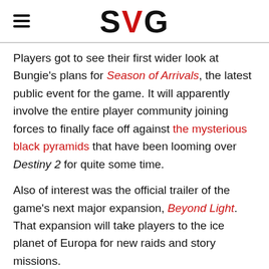SVG
Players got to see their first wider look at Bungie's plans for Season of Arrivals, the latest public event for the game. It will apparently involve the entire player community joining forces to finally face off against the mysterious black pyramids that have been looming over Destiny 2 for quite some time.
Also of interest was the official trailer of the game's next major expansion, Beyond Light. That expansion will take players to the ice planet of Europa for new raids and story missions.
However, the livestream's biggest one-two punch in terms of reveals was a trailer teasing Destiny 2's future,